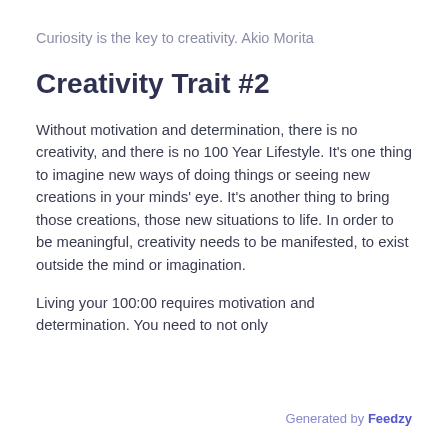Curiosity is the key to creativity. Akio Morita
Creativity Trait #2
Without motivation and determination, there is no creativity, and there is no 100 Year Lifestyle. It's one thing to imagine new ways of doing things or seeing new creations in your minds' eye. It's another thing to bring those creations, those new situations to life. In order to be meaningful, creativity needs to be manifested, to exist outside the mind or imagination.
Living your 100:00 requires motivation and determination. You need to not only
Generated by Feedzy